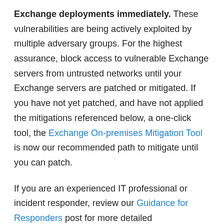Exchange deployments immediately. These vulnerabilities are being actively exploited by multiple adversary groups. For the highest assurance, block access to vulnerable Exchange servers from untrusted networks until your Exchange servers are patched or mitigated. If you have not yet patched, and have not applied the mitigations referenced below, a one-click tool, the Exchange On-premises Mitigation Tool is now our recommended path to mitigate until you can patch.
If you are an experienced IT professional or incident responder, review our Guidance for Responders post for more detailed recommendations that will be continually updated when Microsoft has new information about responding to these attacks.
Deploy updates to affected Exchange Servers
If you do not have an inventory of servers in your environments that run Exchange, you can use the nmap script Microsoft has